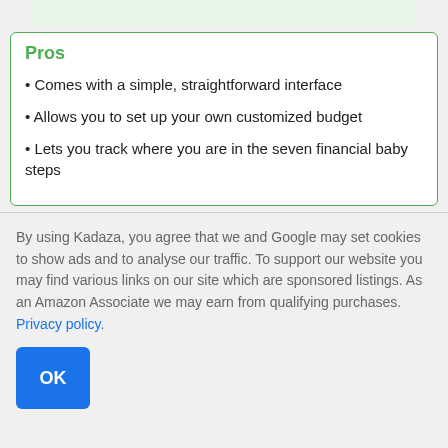Pros
Comes with a simple, straightforward interface
Allows you to set up your own customized budget
Lets you track where you are in the seven financial baby steps
By using Kadaza, you agree that we and Google may set cookies to show ads and to analyse our traffic. To support our website you may find various links on our site which are sponsored listings. As an Amazon Associate we may earn from qualifying purchases. Privacy policy.